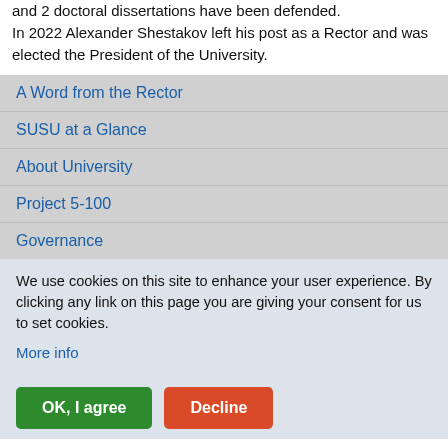and 2 doctoral dissertations have been defended. In 2022 Alexander Shestakov left his post as a Rector and was elected the President of the University.
A Word from the Rector
SUSU at a Glance
About University
Project 5-100
Governance
We use cookies on this site to enhance your user experience. By clicking any link on this page you are giving your consent for us to set cookies.
More info